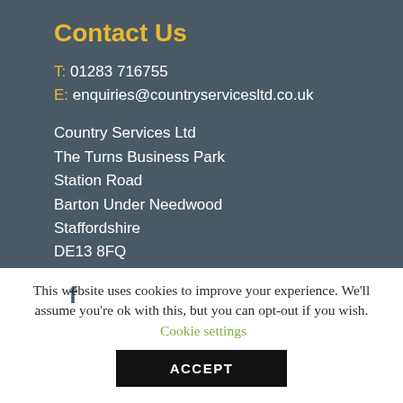Contact Us
T: 01283 716755
E: enquiries@countryservicesltd.co.uk
Country Services Ltd
The Turns Business Park
Station Road
Barton Under Needwood
Staffordshire
DE13 8FQ
[Figure (logo): Facebook logo icon, white on circular background]
This website uses cookies to improve your experience. We'll assume you're ok with this, but you can opt-out if you wish. Cookie settings
ACCEPT